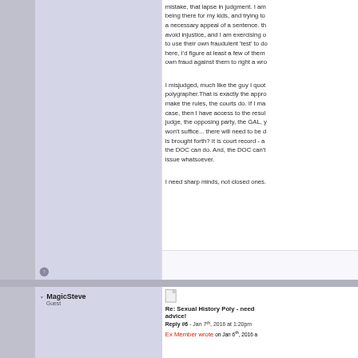mistake, that lapse in judgment. I am being there for my kids, and trying to a necessary appeal of a sentence. th avoid injustice, and I am exercising o to use their own fraudulent 'test' to d here, I'd figure at least a few of them own fraud against them to right a wro
I misjudged, much like the guy I quot polygrapher.That is exactly the appr make the rules, the courts do. If I ma case, then I have access to the resul judge, the opposing party, the GAL, won't suffice... there will need to be d is brought forth? It is court record - a the DOC can do. And, the DOC can't issue whatsoever.
I need sharp minds, not closed ones.
MagicSteve
Guest
Re: Sexual History Poly - need advice!
Reply #6 - Jan 7th, 2016 at 1:20pm
Ex Member wrote on Jan 6th, 2016 a